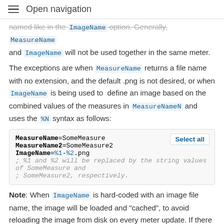Open navigation
named like in the ImageName option. Generally, MeasureName and ImageName will not be used together in the same meter.
The exceptions are when MeasureName returns a file name with no extension, and the default .png is not desired, or when ImageName is being used to define an image based on the combined values of the measures in MeasureNameN and uses the %N syntax as follows:
[Figure (screenshot): Code box showing: MeasureName=SomeMeasure, MeasureName2=SomeMeasure2, ImageName=%1-%2.png, ; %1 and %2 will be replaced by the string values of SomeMeasure and ; SomeMeasure2, respectively. With a 'Select all' button.]
Note: When ImageName is hard-coded with an image file name, the image will be loaded and "cached", to avoid reloading the image from disk on every meter update. If there is an external process that is changing the image file, while leaving the name the same, use DynamicVariables=1 on the meter to force the image to be